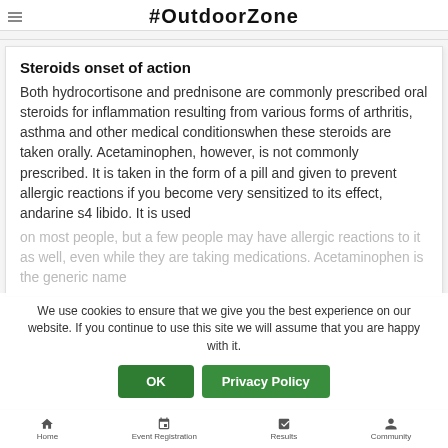#OutdoorZone
Steroids onset of action
Both hydrocortisone and prednisone are commonly prescribed oral steroids for inflammation resulting from various forms of arthritis, asthma and other medical conditionswhen these steroids are taken orally. Acetaminophen, however, is not commonly prescribed. It is taken in the form of a pill and given to prevent allergic reactions if you become very sensitized to its effect, andarine s4 libido. It is used on most people, but a few people may have allergic reactions to it as well, even while they are taking medications. Acetaminophen is the generic name
We use cookies to ensure that we give you the best experience on our website. If you continue to use this site we will assume that you are happy with it.
Home  Event Registration  Results  Community